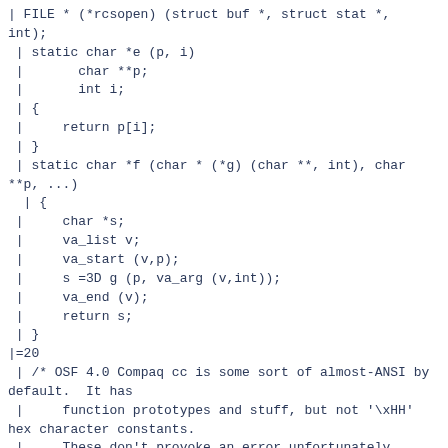| FILE * (*rcsopen) (struct buf *, struct stat *,
int);
 | static char *e (p, i)
 |       char **p;
 |       int i;
 | {
 |     return p[i];
 | }
 | static char *f (char * (*g) (char **, int), char
**p, ...)
  | {
 |     char *s;
 |     va_list v;
 |     va_start (v,p);
 |     s =3D g (p, va_arg (v,int));
 |     va_end (v);
 |     return s;
 | }
|=20
 | /* OSF 4.0 Compaq cc is some sort of almost-ANSI by
default.  It has
 |     function prototypes and stuff, but not '\xHH'
hex character constants.
 |     These don't provoke an error unfortunately,
instead are silently treat=
 ed
 |     as 'x'.  The following induces an error, until -
std is added to get
 |     proper ANSI mode.  Curiously '\x00'!=3D'x'
always comes out true, for =